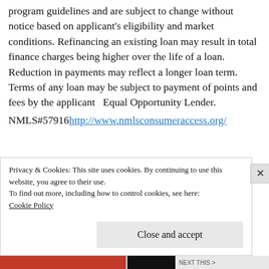program guidelines and are subject to change without notice based on applicant's eligibility and market conditions. Refinancing an existing loan may result in total finance charges being higher over the life of a loan. Reduction in payments may reflect a longer loan term. Terms of any loan may be subject to payment of points and fees by the applicant  Equal Opportunity Lender. NMLS#57916http://www.nmlsconsumeraccess.org/
Privacy & Cookies: This site uses cookies. By continuing to use this website, you agree to their use.
To find out more, including how to control cookies, see here:
Cookie Policy
Close and accept